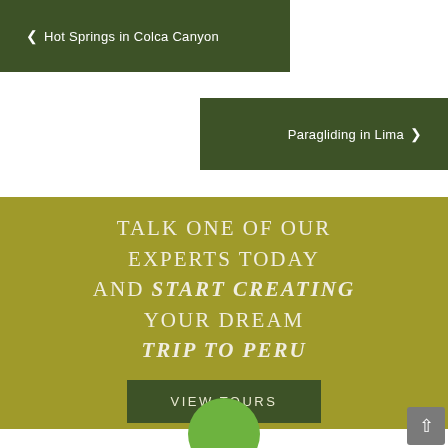◀ Hot Springs in Colca Canyon
Paragliding in Lima ▶
TALK ONE OF OUR EXPERTS TODAY AND START CREATING YOUR DREAM TRIP TO PERU
VIEW TOURS